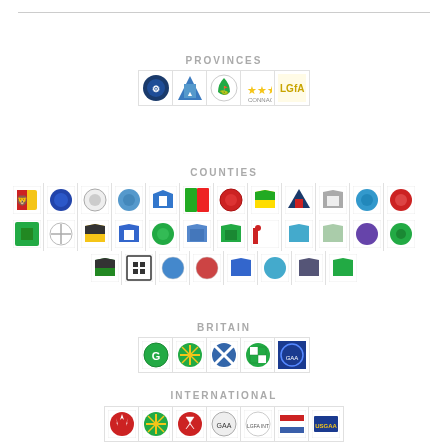PROVINCES
[Figure (illustration): Row of 5 provincial GAA crests/logos in a bordered grid]
COUNTIES
[Figure (illustration): Grid of county GAA crests across three rows, approximately 32 counties]
BRITAIN
[Figure (illustration): Row of 5 Britain GAA crests in a bordered grid]
INTERNATIONAL
[Figure (illustration): Row of 7 international GAA crests/logos in a bordered grid]